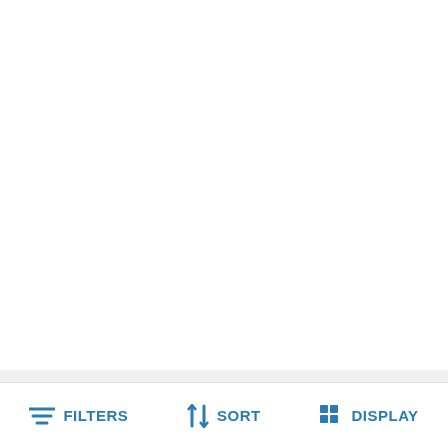[Figure (photo): White background area for product image (top card, mostly white/blank)]
bo582-Ladies Glasses+Diamantes-Anti Nickel Supra-Sprung Hinged Sides
£33.00
[Figure (photo): Partial photo of eyeglasses/spectacles with gold frames and dark brown temples, shown from above at an angle]
[Figure (other): Blue scroll-to-top button with double up-arrow chevron icon]
FILTERS   SORT   DISPLAY